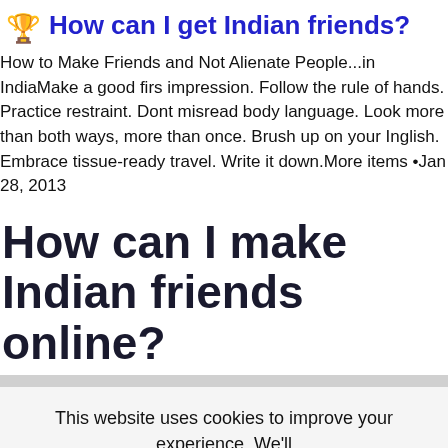🏆 How can I get Indian friends?
How to Make Friends and Not Alienate People...in IndiaMake a good first impression. Follow the rule of hands. Practice restraint. Dont misread body language. Look more than both ways, more than once. Brush up on your Inglish. Embrace tissue-ready travel. Write it down.More items •Jan 28, 2013
How can I make Indian friends online?
This website uses cookies to improve your experience. We'll assume you're ok with this, but you can opt-out if you wish.